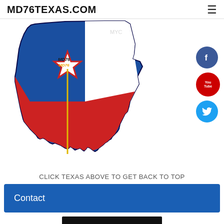MD76TEXAS.COM
[Figure (illustration): Texas state shape filled with Texas flag colors (blue on left, red and white on right), with a star logo showing 'MD76' text and a gold vertical line/flag pole. Social media icons (Facebook, YouTube, Twitter) on the right side.]
CLICK TEXAS ABOVE TO GET BACK TO TOP
Contact